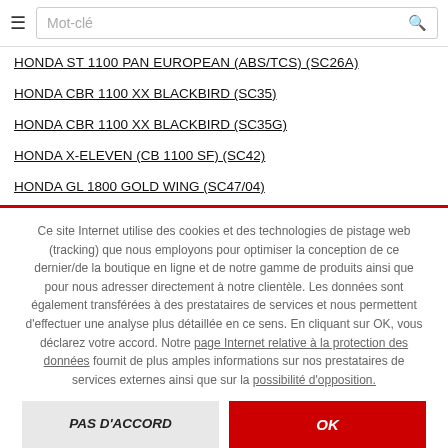Mot-clé [search bar with hamburger menu]
HONDA ST 1100 PAN EUROPEAN (ABS/TCS) (SC26A)
HONDA CBR 1100 XX BLACKBIRD (SC35)
HONDA CBR 1100 XX BLACKBIRD (SC35G)
HONDA X-ELEVEN (CB 1100 SF) (SC42)
HONDA GL 1800 GOLD WING (SC47/04)
Ce site Internet utilise des cookies et des technologies de pistage web (tracking) que nous employons pour optimiser la conception de ce dernier/de la boutique en ligne et de notre gamme de produits ainsi que pour nous adresser directement à notre clientèle. Les données sont également transférées à des prestataires de services et nous permettent d'effectuer une analyse plus détaillée en ce sens. En cliquant sur OK, vous déclarez votre accord. Notre page Internet relative à la protection des données fournit de plus amples informations sur nos prestataires de services externes ainsi que sur la possibilité d'opposition.
PAS D'ACCORD
OK